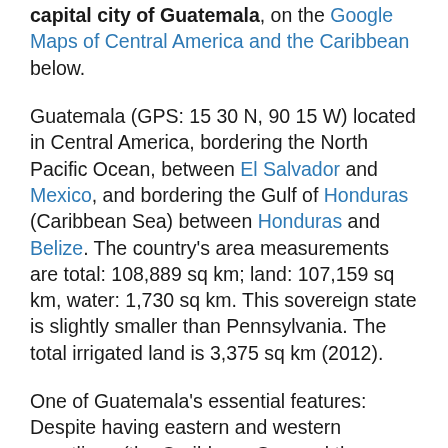capital city of Guatemala, on the Google Maps of Central America and the Caribbean below.
Guatemala (GPS: 15 30 N, 90 15 W) located in Central America, bordering the North Pacific Ocean, between El Salvador and Mexico, and bordering the Gulf of Honduras (Caribbean Sea) between Honduras and Belize. The country's area measurements are total: 108,889 sq km; land: 107,159 sq km, water: 1,730 sq km. This sovereign state is slightly smaller than Pennsylvania. The total irrigated land is 3,375 sq km (2012).
One of Guatemala's essential features: Despite having eastern and western coastlines (the Caribbean Sea and the Pacific